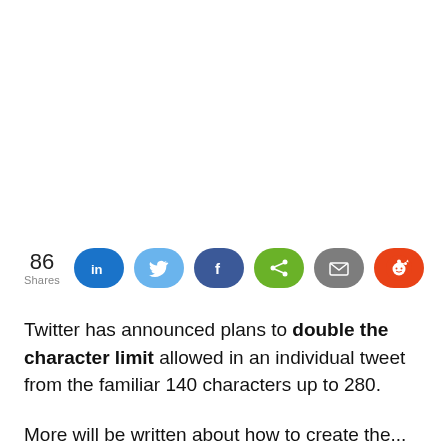[Figure (infographic): Social share bar showing 86 Shares with buttons for LinkedIn (dark blue), Twitter (light blue), Facebook (dark blue/indigo), Share (green), Email (grey), Reddit (orange-red)]
Twitter has announced plans to double the character limit allowed in an individual tweet from the familiar 140 characters up to 280.
More will be written about how to create the...